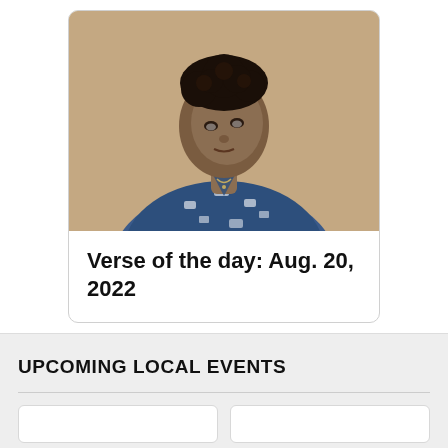[Figure (photo): Photo of a person with short curly dark hair, wearing a blue and white patterned top, looking upward, against a beige/tan background. Image is shown in a rounded card.]
Verse of the day: Aug. 20, 2022
UPCOMING LOCAL EVENTS